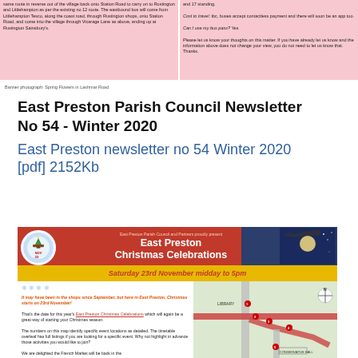Same route in reverse out of the village back onto Station Road to carry on to Rustington and Littlehampton as per the existing no 12 route. The eastbound bus will come from Littlehampton Tesco, along the coast road, through Rustington shops, onto Station Road, and come into the village through Vicarage Lane as above, ending up at Rustington Sainsbury's.
and 17 standing.
Cost to travel: tbc, buses accept contactless payment and there will soon be an app too.
Can I use my bus pass? Yes
Please let us know your thoughts on this matter. If you have already let us know and the information above does not change your view, you do not need to let us know that. Thanks.
Banner photograph: Spring Flowers in Lashmar Road
East Preston Parish Council Newsletter No 54 - Winter 2020
East Preston newsletter no 54 Winter 2020 [pdf] 2152Kb
[Figure (illustration): East Preston Christmas Celebrations flyer. Red and dark blue banner header reading 'East Preston Christmas Celebrations' with snow globe logo and Saturday 23rd November midday to 5pm on gold bar. Lower section has text about Christmas celebrations and a map showing event locations.]